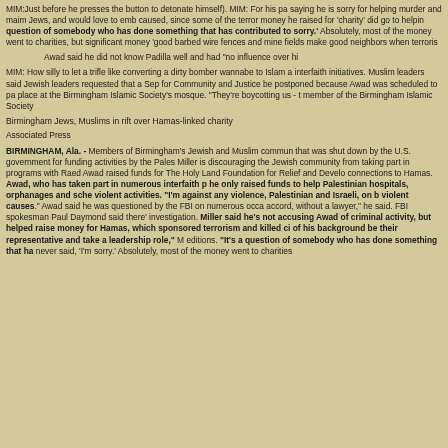MIM:Just before he presses the button to detonate himself). MIM: For his part, saying he is sorry for helping murder and maim Jews, and would love to embr caused, since some of the terror money he raised for 'charity' did go to helpin question of somebody who has done something that has contributed to sorry.' Absolutely, most of the money went to charities, but significant money 'good barbed wire fences and mine fields make good neighbors when terroris
Awad said he did not know Padilla well and had "no influence over hi
MIM: How silly to let a trifle like converting a dirty bomber wannabe to Islam a interfaith initiatives. Muslim leaders said Jewish leaders requested that a Sep for Community and Justice be postponed because Awad was scheduled to pa place at the Birmingham Islamic Society's mosque. "They're boycotting us - t member of the Birmingham Islamic Society
Birmingham Jews, Muslims in rift over Hamas-linked charity
Associated Press
BIRMINGHAM, Ala. - Members of Birmingham's Jewish and Muslim commun that was shut down by the U.S. government for funding activities by the Pales Miller is discouraging the Jewish community from taking part in programs with Raed Awad raised funds for The Holy Land Foundation for Relief and Develo connections to Hamas. Awad, who has taken part in numerous interfaith p he only raised funds to help Palestinian hospitals, orphanages and sche violent activities. "I'm against any violence, Palestinian and Israeli, on b violent causes." Awad said he was questioned by the FBI on numerous occa accord, without a lawyer," he said. FBI spokesman Paul Daymond said there' investigation. Miller said he's not accusing Awad of criminal activity, but helped raise money for Hamas, which sponsored terrorism and killed ci of his background be their representative and take a leadership role," M editions. "It's a question of somebody who has done something that ha never said, 'I'm sorry.' Absolutely, most of the money went to charities